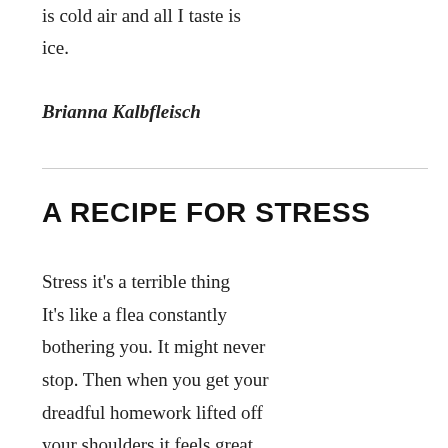is cold air and all I taste is ice.
Brianna Kalbfleisch
A RECIPE FOR STRESS
Stress it's a terrible thing It's like a flea constantly bothering you. It might never stop. Then when you get your dreadful homework lifted off your shoulders it feels great